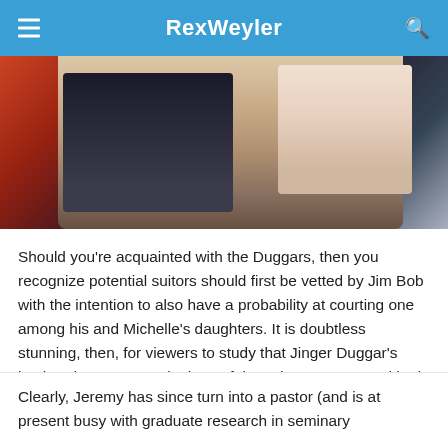RexWeyler
[Figure (photo): Cropped photo of two people, one wearing a dark suit with a tie and another with blonde hair, close-up portrait style]
Should you’re acquainted with the Duggars, then you recognize potential suitors should first be vetted by Jim Bob with the intention to also have a probability at courting one among his and Michelle’s daughters. It is doubtless stunning, then, for viewers to study that Jinger Duggar’s husband, Jeremy Vuolo, has a felony document — and he is even been arrested.
Sure, you learn that accurately.
Clearly, Jeremy has since turn into a pastor (and is at present busy with graduate research in seminary